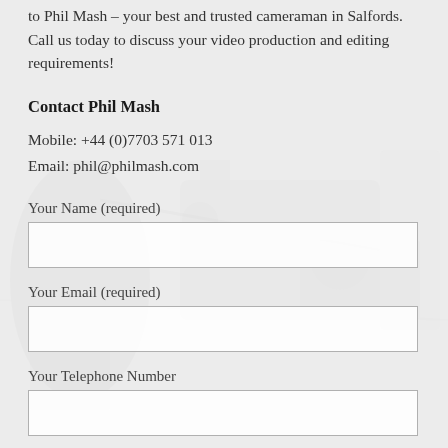to Phil Mash – your best and trusted cameraman in Salfords. Call us today to discuss your video production and editing requirements!
Contact Phil Mash
Mobile: +44 (0)7703 571 013
Email: phil@philmash.com
Your Name (required)
Your Email (required)
Your Telephone Number
Your Message